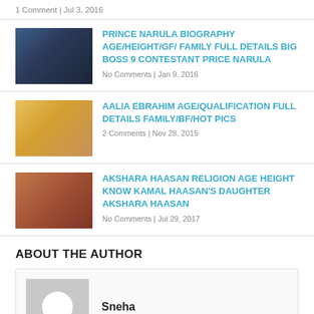1 Comment | Jul 3, 2016
PRINCE NARULA BIOGRAPHY AGE/HEIGHT/GF/ FAMILY FULL DETAILS BIG BOSS 9 CONTESTANT PRICE NARULA
No Comments | Jan 9, 2016
AALIA EBRAHIM AGE/QUALIFICATION FULL DETAILS FAMILY/BF/HOT PICS
2 Comments | Nov 28, 2015
AKSHARA HAASAN RELIGION AGE HEIGHT KNOW KAMAL HAASAN'S DAUGHTER AKSHARA HAASAN
No Comments | Jul 29, 2017
ABOUT THE AUTHOR
Sneha